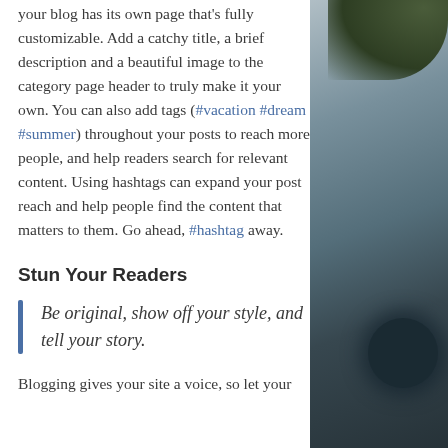your blog has its own page that's fully customizable. Add a catchy title, a brief description and a beautiful image to the category page header to truly make it your own. You can also add tags (#vacation #dream #summer) throughout your posts to reach more people, and help readers search for relevant content. Using hashtags can expand your post reach and help people find the content that matters to them. Go ahead, #hashtag away.
Stun Your Readers
Be original, show off your style, and tell your story.
Blogging gives your site a voice, so let your
[Figure (photo): Dark photographic image showing foliage at top and a dark circular object (possibly a car part or lens) in the lower portion, with dark blue-grey tones.]